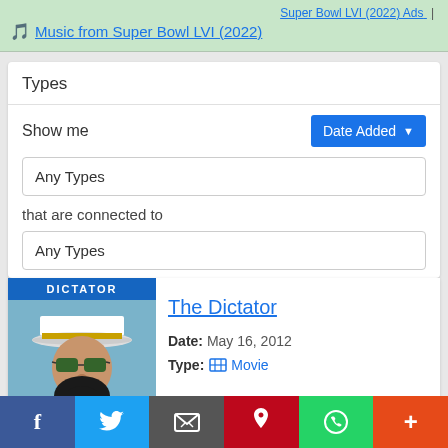🎵 Music from Super Bowl LVI (2022)
Types
Show me
Date Added
Any Types
that are connected to
Any Types
[Figure (photo): Movie poster for The Dictator showing a man wearing a white military cap with sunglasses and a long dark beard]
The Dictator
Date: May 16, 2012
Type: 🎬 Movie
f | Twitter | Email | Pinterest | WhatsApp | +